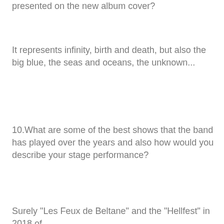presented on the new album cover?
It represents infinity, birth and death, but also the big blue, the seas and oceans, the unknown...
10.What are some of the best shows that the band has played over the years and also how would you describe your stage performance?
Surely "Les Feux de Beltane" and the "Hellfest" in 2018 of